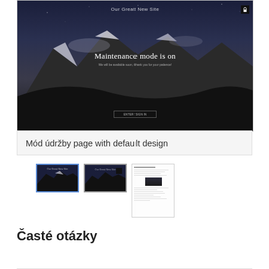[Figure (screenshot): Screenshot of a website maintenance mode page with dark mountain background, title 'Our Great New Site', large text 'Maintenance mode is on', and a small subtitle. Lock icon in top right corner. Enter button at bottom center.]
Mód údržby page with default design
[Figure (screenshot): Three thumbnail screenshots: two dark mountain background maintenance mode screens and one white document/settings page]
Časté otázky